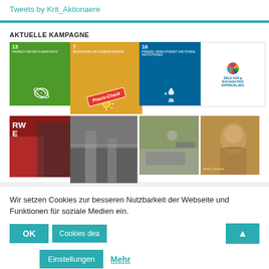Tweets by Krit_Aktionaere
AKTUELLE KAMPAGNE
[Figure (infographic): Grid of campaign images: SDG 13 Handeln für den Klimaschutz (green), SDG 7 Bezahlbare und Saubere Energie (yellow, with Praxis-Check stamp), SDG 16 Frieden, Gerechtigkeit und Starke Institutionen (blue), Ziele für Nachhaltige Entwicklung badge (white), and four photo tiles (RWE protest, industrial, military, Berta Cáceres)]
Wir setzen Cookies zur besseren Nutzbarkeit der Webseite und Funktionen für soziale Medien ein.
OK
Cookies dea
Einstellungen
Mehr